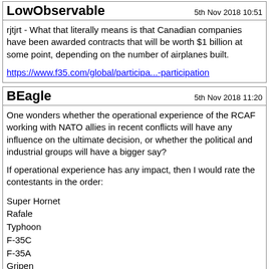LowObservable — 5th Nov 2018 10:51
rjtjrt - What that literally means is that Canadian companies have been awarded contracts that will be worth $1 billion at some point, depending on the number of airplanes built.
https://www.f35.com/global/participa...-participation
BEagle — 5th Nov 2018 11:20
One wonders whether the operational experience of the RCAF working with NATO allies in recent conflicts will have any influence on the ultimate decision, or whether the political and industrial groups will have a bigger say?
If operational experience has any impact, then I would rate the contestants in the order:
Super Hornet
Rafale
Typhoon
F-35C
F-35A
Gripen
Perhaps the French Canadian politicians might look kindly on Rafale if they can secure a good deal from leur amis across the pond?
Partial post header visible at bottom